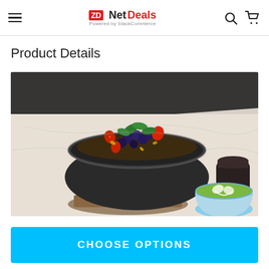ZD Net Deals — Powered by StackCommerce
Product Details
[Figure (photo): A dark ceramic bowl filled with a berry and grain mixture topped with fresh mint leaves and strawberries, beside a green matcha latte in a light blue cup, on a white marble surface with a dark cylindrical container in the background.]
CHOOSE OPTIONS